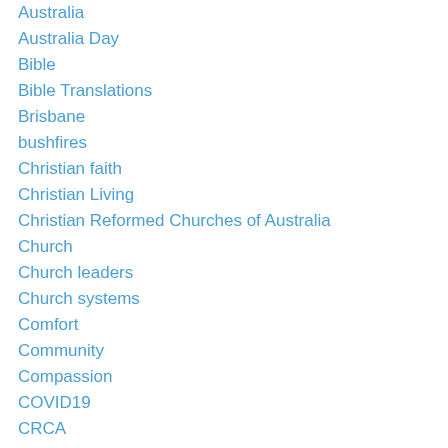Australia
Australia Day
Bible
Bible Translations
Brisbane
bushfires
Christian faith
Christian Living
Christian Reformed Churches of Australia
Church
Church leaders
Church systems
Comfort
Community
Compassion
COVID19
CRCA
Culture
Dating
Dementia